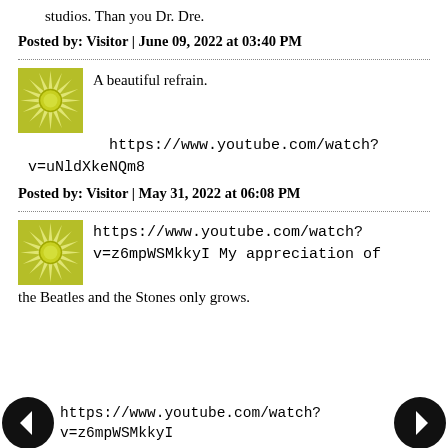studios. Than you Dr. Dre.
Posted by: Visitor | June 09, 2022 at 03:40 PM
A beautiful refrain.

https://www.youtube.com/watch?v=uNldXkeNQm8
Posted by: Visitor | May 31, 2022 at 06:08 PM
https://www.youtube.com/watch?v=z6mpWSMkkyI My appreciation of the Beatles and the Stones only grows.
https://www.youtube.com/watch?v=z6mpWSMkkyI